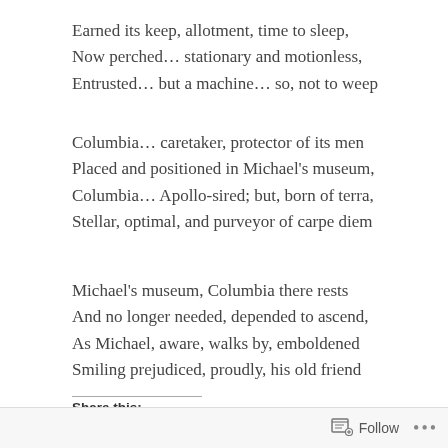Earned its keep, allotment, time to sleep,
Now perched… stationary and motionless,
Entrusted… but a machine… so, not to weep
Columbia… caretaker, protector of its men
Placed and positioned in Michael's museum,
Columbia… Apollo-sired; but, born of terra,
Stellar, optimal, and purveyor of carpe diem
Michael's museum, Columbia there rests
And no longer needed, depended to ascend,
As Michael, aware, walks by, emboldened
Smiling prejudiced, proudly, his old friend
Share this:
Follow  •••